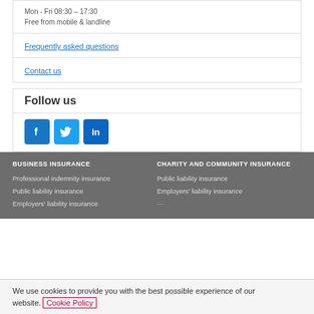Mon - Fri 08:30 - 17:30
Free from mobile & landline
Frequently asked questions
Contact us
Follow us
[Figure (infographic): Social media icons: Facebook (blue), Twitter (blue), LinkedIn (blue)]
BUSINESS INSURANCE
Professional indemnity insurance
Public liability insurance
Employers' liability insurance
CHARITY AND COMMUNITY INSURANCE
Public liability insurance
Employers' liability insurance
We use cookies to provide you with the best possible experience of our website. Cookie Policy